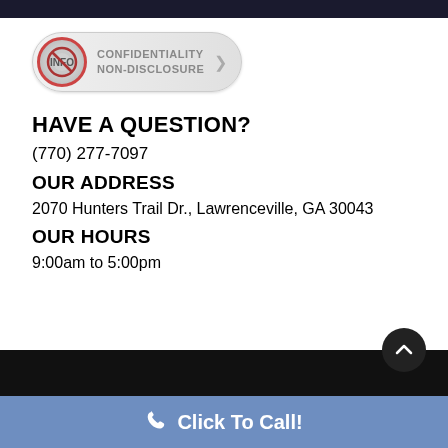[Figure (logo): Confidentiality Non-Disclosure badge with circular icon and arrow]
HAVE A QUESTION?
(770) 277-7097
OUR ADDRESS
2070 Hunters Trail Dr., Lawrenceville, GA 30043
OUR HOURS
9:00am to 5:00pm
Click To Call!